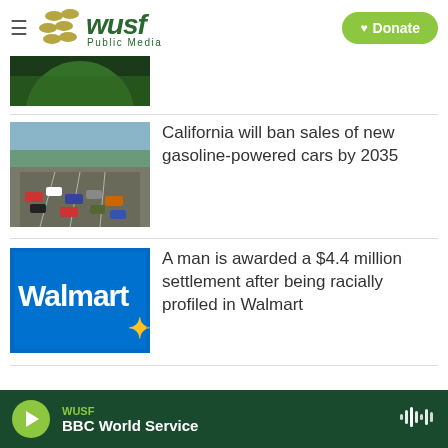WUSF Public Media — Donate
[Figure (photo): Partial photo of person in green shirt, cropped at top]
[Figure (photo): Aerial view of highway with heavy traffic]
California will ban sales of new gasoline-powered cars by 2035
[Figure (photo): Walmart store sign with blue background]
A man is awarded a $4.4 million settlement after being racially profiled in Walmart
WUSF BBC World Service